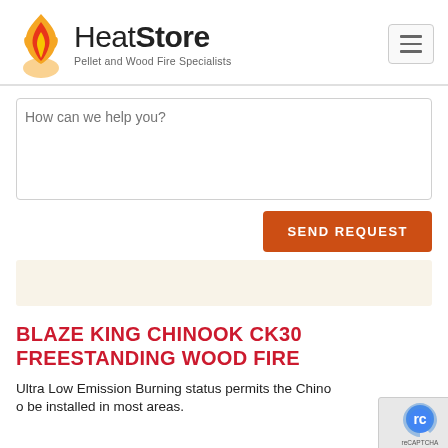[Figure (logo): HeatStore logo with flame graphic and tagline 'Pellet and Wood Fire Specialists']
How can we help you?
SEND REQUEST
BLAZE KING CHINOOK CK30 FREESTANDING WOOD FIRE
Ultra Low Emission Burning status permits the Chinook to be installed in most areas.